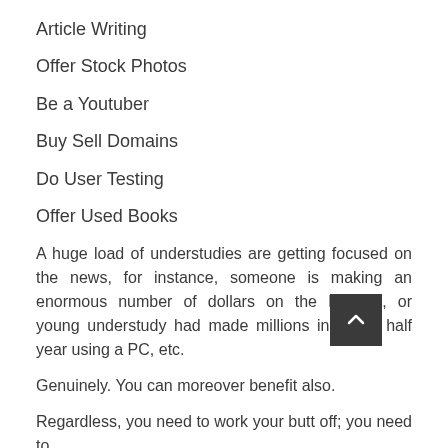Article Writing
Offer Stock Photos
Be a Youtuber
Buy Sell Domains
Do User Testing
Offer Used Books
A huge load of understudies are getting focused on the news, for instance, someone is making an enormous number of dollars on the Internet, or young understudy had made millions in just a half year using a PC, etc.
Genuinely. You can moreover benefit also.
Regardless, you need to work your butt off; you need to